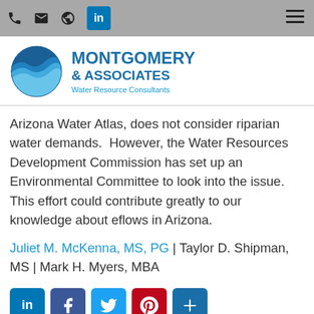Navigation bar with phone, email, globe, LinkedIn icons and hamburger menu
[Figure (logo): Montgomery & Associates Water Resource Consultants logo with blue sphere/wave icon]
Arizona Water Atlas, does not consider riparian water demands.  However, the Water Resources Development Commission has set up an Environmental Committee to look into the issue. This effort could contribute greatly to our knowledge about eflows in Arizona.
Juliet M. McKenna, MS, PG | Taylor D. Shipman, MS | Mark H. Myers, MBA
[Figure (infographic): Social media share buttons: LinkedIn, Facebook, Twitter, Pinterest, More (+)]